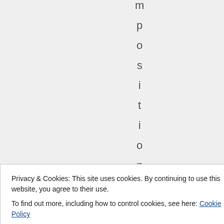m p o s i t i o n o f
Privacy & Cookies: This site uses cookies. By continuing to use this website, you agree to their use.
To find out more, including how to control cookies, see here: Cookie Policy
Close and accept
a